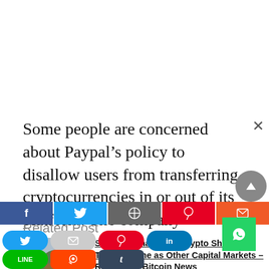Some people are concerned about Paypal's policy to disallow users from transferring cryptocurrencies in or out of its platform. The company detailed:
Related Post
[Figure (photo): Photo of a young man wearing sunglasses outdoors near a body of water with trees in background]
SEC Chairman Says Crypto Should Be Treated Same as Other Capital Markets – Regulation Bitcoin News
SEC Chairman Gary Gensler says that there isn't a have to